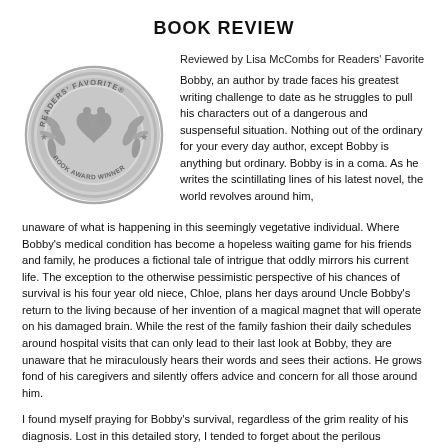BOOK REVIEW
Reviewed by Lisa McCombs for Readers' Favorite
[Figure (illustration): Readers' Favorite Book Award Winner silver medallion seal with laurel wreath and heart/book emblem]
Bobby, an author by trade faces his greatest writing challenge to date as he struggles to pull his characters out of a dangerous and suspenseful situation. Nothing out of the ordinary for your every day author, except Bobby is anything but ordinary. Bobby is in a coma. As he writes the scintillating lines of his latest novel, the world revolves around him, unaware of what is happening in this seemingly vegetative individual. Where Bobby's medical condition has become a hopeless waiting game for his friends and family, he produces a fictional tale of intrigue that oddly mirrors his current life. The exception to the otherwise pessimistic perspective of his chances of survival is his four year old niece, Chloe, plans her days around Uncle Bobby's return to the living because of her invention of a magical magnet that will operate on his damaged brain. While the rest of the family fashion their daily schedules around hospital visits that can only lead to their last look at Bobby, they are unaware that he miraculously hears their words and sees their actions. He grows fond of his caregivers and silently offers advice and concern for all those around him.
I found myself praying for Bobby's survival, regardless of the grim reality of his diagnosis. Lost in this detailed story, I tended to forget about the perilous condition of the main character, until the surprising ending. I actually re-read the last pages